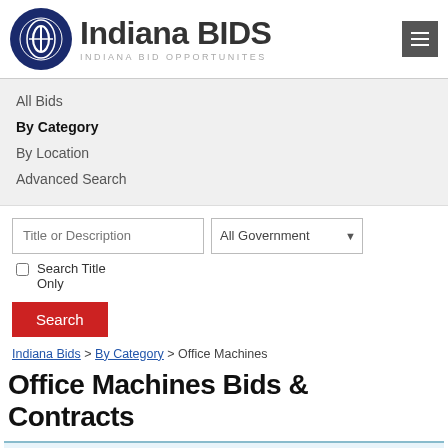Indiana BIDS — INDIANA BID OPPORTUNITES
All Bids
By Category
By Location
Advanced Search
Title or Description | All Government | Search Title Only | Search
Indiana Bids > By Category > Office Machines
Office Machines Bids & Contracts
Looking for more state & federal bids?